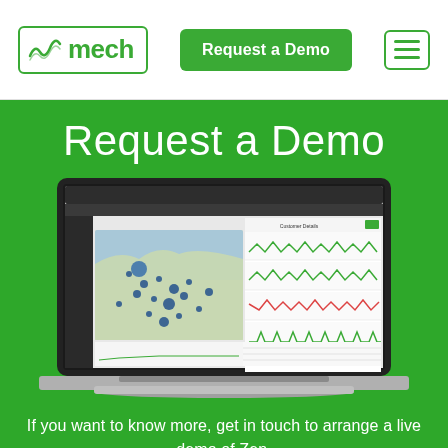[Figure (logo): sysmech company logo in green with wave accent]
Request a Demo
[Figure (other): Hamburger menu icon with three horizontal lines in green border box]
Request a Demo
[Figure (screenshot): Laptop screen showing Sysmech Zen software dashboard with a geographic map on the left side showing blue data points over a Netherlands/coastal region map, and multiple time-series waveform charts on the right side labeled Customer Details, plus a data table at the bottom]
If you want to know more, get in touch to arrange a live demo of Zen.